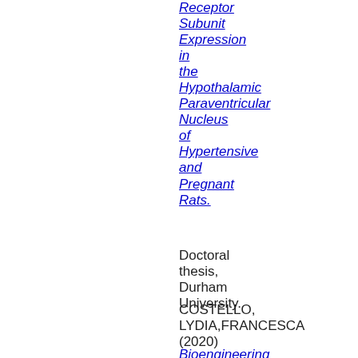Receptor Subunit Expression in the Hypothalamic Paraventricular Nucleus of Hypertensive and Pregnant Rats.
Doctoral thesis, Durham University.
COSTELLO, LYDIA,FRANCESCA (2020)
Bioengineering